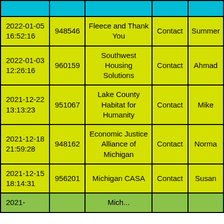| Date | ID | Organization | Type | Name |
| --- | --- | --- | --- | --- |
| 2022-01-05 16:52:16 | 948546 | Fleece and Thank You | Contact | Summer |
| 2022-01-03 12:26:16 | 960159 | Southwest Housing Solutions | Contact | Ahmad |
| 2021-12-22 13:13:23 | 951067 | Lake County Habitat for Humanity | Contact | Mike |
| 2021-12-18 21:59:28 | 948162 | Economic Justice Alliance of Michigan | Contact | Norma |
| 2021-12-15 18:14:31 | 956201 | Michigan CASA | Contact | Susan |
| 2021- |  | Mich... |  |  |